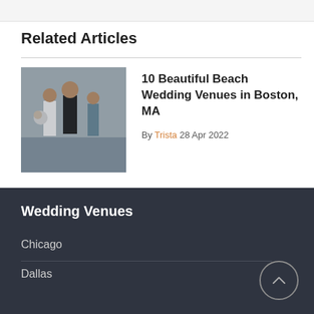Related Articles
[Figure (photo): Wedding photo showing bride and groom with attendants outdoors]
10 Beautiful Beach Wedding Venues in Boston, MA
By Trista 28 Apr 2022
Wedding Venues
Chicago
Dallas